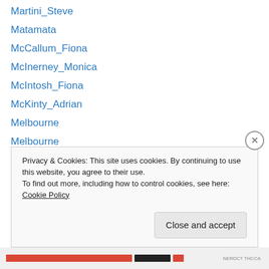Martini_Steve
Matamata
McCallum_Fiona
McInerney_Monica
McIntosh_Fiona
McKinty_Adrian
Melbourne
Melbourne
Melbourne Zoo
Mendenhall Glacier
Menin Gate
Menin Gate
Menin Gate
Privacy & Cookies: This site uses cookies. By continuing to use this website, you agree to their use.
To find out more, including how to control cookies, see here: Cookie Policy
Close and accept